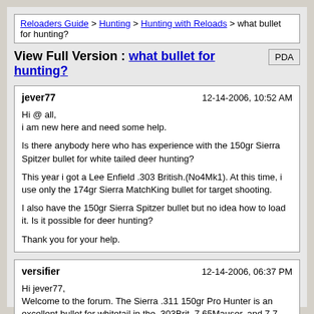Reloaders Guide > Hunting > Hunting with Reloads > what bullet for hunting?
View Full Version : what bullet for hunting?
jever77  12-14-2006, 10:52 AM
Hi @ all,
i am new here and need some help.

Is there anybody here who has experience with the 150gr Sierra Spitzer bullet for white tailed deer hunting?

This year i got a Lee Enfield .303 British.(No4Mk1). At this time, i use only the 174gr Sierra MatchKing bullet for target shooting.

I also have the 150gr Sierra Spitzer bullet but no idea how to load it. Is it possible for deer hunting?

Thank you for your help.
versifier  12-14-2006, 06:37 PM
Hi jever77,
Welcome to the forum. The Sierra .311 150gr Pro Hunter is an excellent bullet for whitetail in the .303Brit, 7.65Mauser, and 7.7 Arisaka. IMR 3031 and 4064 are my powders of choice in the .303, but I am not sure what you have access to in Germany. Looking at available loading data, N140 should work, but I have not tried it personally. As long as you can find an accurate combination that travels 24-2600fps, it will do the job nicely out to 200 meters, or a little more if you eyes are up to it (mine are no longer :-D ). People sometimes run into problems with Sierras when they try to push them too fast (i.e. 3000fps+), but that isn't an issue with the .303, and I suspect that this is the cartridge that